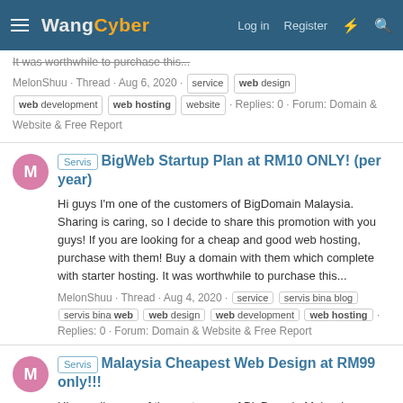WangCyber — Log in | Register
It was worthwhile to purchase this...
MelonShuu · Thread · Aug 6, 2020 · service | web design | web development | web hosting | website · Replies: 0 · Forum: Domain & Website & Free Report
[Servis] BigWeb Startup Plan at RM10 ONLY! (per year)
Hi guys I'm one of the customers of BigDomain Malaysia. Sharing is caring, so I decide to share this promotion with you guys! If you are looking for a cheap and good web hosting, purchase with them! Buy a domain with them which complete with starter hosting. It was worthwhile to purchase this...
MelonShuu · Thread · Aug 4, 2020 · service | servis bina blog | servis bina web | web design | web development | web hosting · Replies: 0 · Forum: Domain & Website & Free Report
[Servis] Malaysia Cheapest Web Design at RM99 only!!!
Hi guys I'm one of the customers of BigDomain Malaysia. Sharing is caring, so I decide to share this promotion with you guys! If...